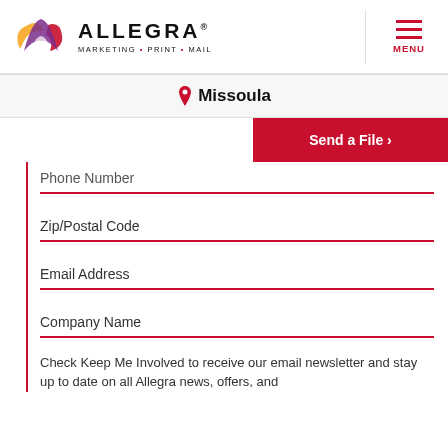ALLEGRA MARKETING • PRINT • MAIL — Missoula | MENU
Send a File ›
Phone Number
Zip/Postal Code
Email Address
Company Name
Check Keep Me Involved to receive our email newsletter and stay up to date on all Allegra news, offers, and